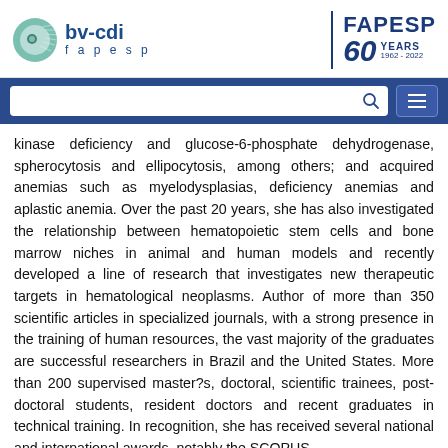bv-cdi fapesp | FAPESP 60 YEARS 1962-2022
kinase deficiency and glucose-6-phosphate dehydrogenase, spherocytosis and ellipocytosis, among others; and acquired anemias such as myelodysplasias, deficiency anemias and aplastic anemia. Over the past 20 years, she has also investigated the relationship between hematopoietic stem cells and bone marrow niches in animal and human models and recently developed a line of research that investigates new therapeutic targets in hematological neoplasms. Author of more than 350 scientific articles in specialized journals, with a strong presence in the training of human resources, the vast majority of the graduates are successful researchers in Brazil and the United States. More than 200 supervised master?s, doctoral, scientific trainees, post-doctoral students, resident doctors and recent graduates in technical training. In recognition, she has received several national and international awards, notably the SCOPUS